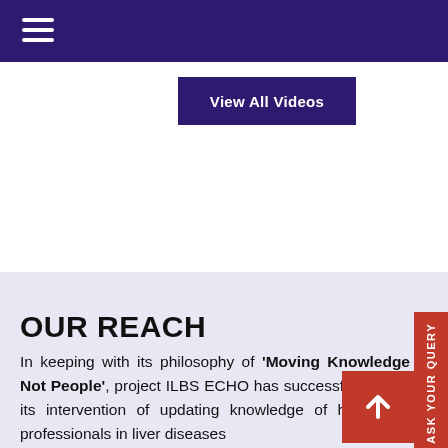Navigation menu (hamburger icon)
[Figure (screenshot): View All Videos button in dark purple/indigo background]
OUR REACH
In keeping with its philosophy of 'Moving Knowledge Not People', project ILBS ECHO has successfully taken its intervention of updating knowledge of healthcare professionals in liver diseases